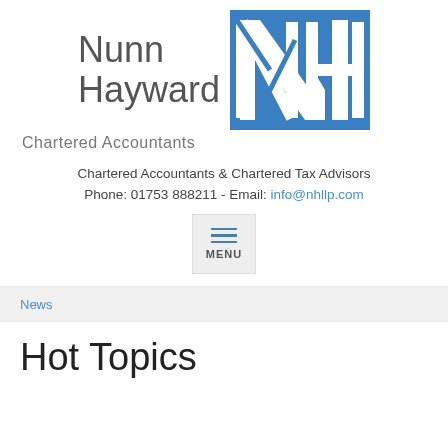[Figure (logo): Nunn Hayward Chartered Accountants logo with blue NH graphic mark]
Chartered Accountants & Chartered Tax Advisors
Phone: 01753 888211 - Email: info@nhllp.com
[Figure (other): Menu button with hamburger icon and MENU label]
News
Hot Topics